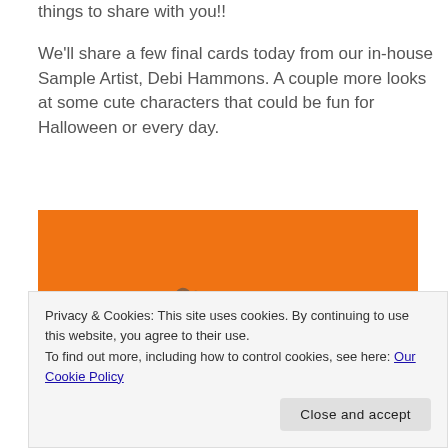things to share with you!!
We'll share a few final cards today from our in-house Sample Artist, Debi Hammons. A couple more looks at some cute characters that could be fun for Halloween or every day.
[Figure (illustration): Orange background with two cartoon character heads peeking up - one with brown messy hair (peach skin) and one green monster/frankenstein head with orange hair, both with large cartoon eyes. Below is a colorful striped bar in various colors (yellow, orange, purple, green, white, etc.).]
Privacy & Cookies: This site uses cookies. By continuing to use this website, you agree to their use.
To find out more, including how to control cookies, see here: Our Cookie Policy
Close and accept